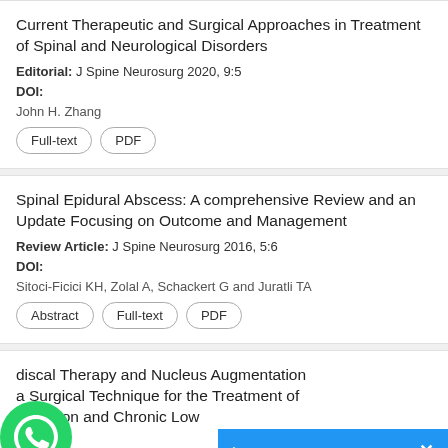Current Therapeutic and Surgical Approaches in Treatment of Spinal and Neurological Disorders
Editorial: J Spine Neurosurg 2020, 9:5
DOI:
John H. Zhang
Full-text  PDF
Spinal Epidural Abscess: A comprehensive Review and an Update Focusing on Outcome and Management
Review Article: J Spine Neurosurg 2016, 5:6
DOI:
Sitoci-Ficici KH, Zolal A, Schackert G and Juratli TA
Abstract  Full-text  PDF
discal Therapy and Nucleus Augmentation a Surgical Technique for the Treatment of Common and Chronic Low